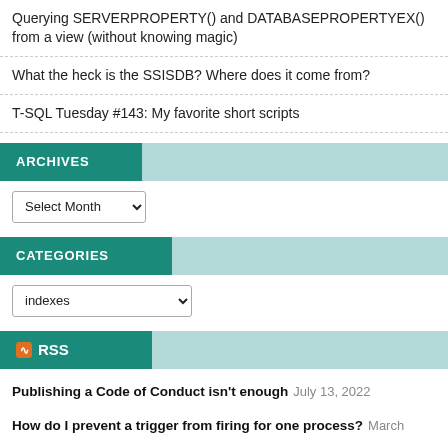Querying SERVERPROPERTY() and DATABASEPROPERTYEX() from a view (without knowing magic)
What the heck is the SSISDB? Where does it come from?
T-SQL Tuesday #143: My favorite short scripts
ARCHIVES
Select Month (dropdown)
CATEGORIES
indexes (dropdown)
RSS
Publishing a Code of Conduct isn't enough July 13, 2022
How do I prevent a trigger from firing for one process? March